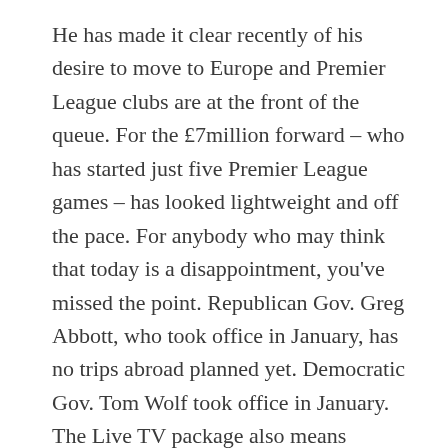He has made it clear recently of his desire to move to Europe and Premier League clubs are at the front of the queue. For the £7million forward – who has started just five Premier League games – has looked lightweight and off the pace. For anybody who may think that today is a disappointment, you've missed the point. Republican Gov. Greg Abbott, who took office in January, has no trips abroad planned yet. Democratic Gov. Tom Wolf took office in January. The Live TV package also means catching episodes of The Office or Parks and Recreation, despite the shows moving to Peacock. Going along were business leaders from oil and grain companies, a distillery and a tourism company that brings Chinese travelers to Yellowstone and Glacier national parks. We're not going to twinkle-toe around the USA and see what happens. At the UNICEF All-Star game in Pasadena, Calif., FIFA officials suggested the USA should bid for the '94 World Cup. U.S. Cup '93 was used as a dress rehearsal for World Cup...